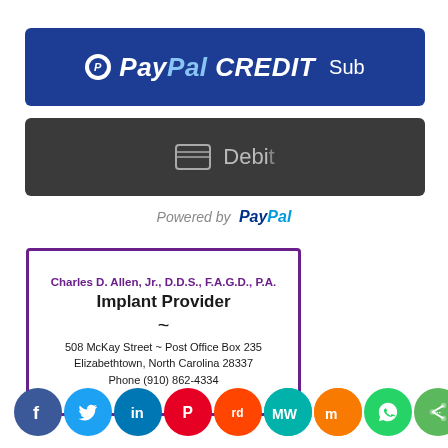[Figure (screenshot): PayPal CREDIT subscription button — dark blue rounded rectangle with PayPal logo and 'PayPal CREDIT Sub' text in white italic]
[Figure (screenshot): Debit card button — dark grey rounded rectangle with credit card icon and 'Debit' text in light grey]
Powered by PayPal
[Figure (other): Business card for Charles D. Allen, Jr., D.D.S., F.A.G.D., P.A. — Implant Provider. 508 McKay Street ~ Post Office Box 235, Elizabethtown, North Carolina 28337. Phone (910) 862-4334. Purple border.]
[Figure (other): Row of social media share icons: Facebook, Twitter, LinkedIn, Pinterest, Reddit, MeWe, Mix, WhatsApp, More]